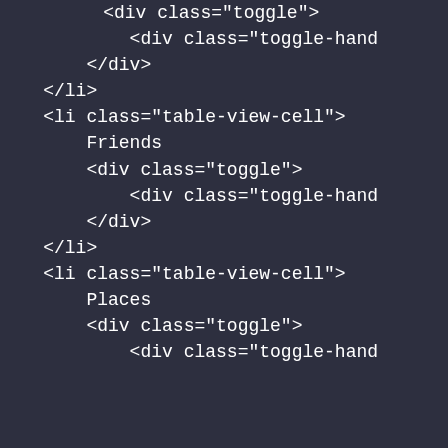<div class="toggle">
            <div class="toggle-hand
        </div>
    </li>
    <li class="table-view-cell">
        Friends
        <div class="toggle">
            <div class="toggle-hand
        </div>
    </li>
    <li class="table-view-cell">
        Places
        <div class="toggle">
            <div class="toggle-hand